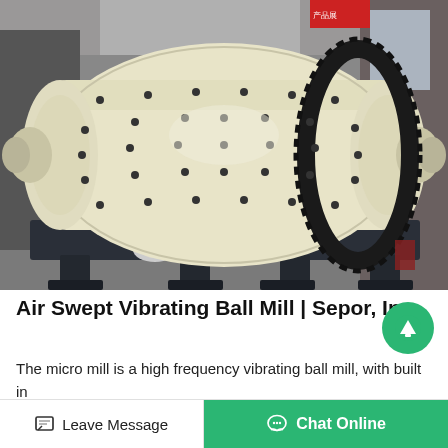[Figure (photo): Large industrial air swept vibrating ball mill on a heavy steel frame base, photographed inside a factory/warehouse setting. The mill has a cream/off-white colored horizontal cylindrical drum with numerous bolt holes, a large black gear ring on the right side, and end caps with smaller cylindrical protrusions on each end.]
Air Swept Vibrating Ball Mill | Sepor, Inc
The micro mill is a high frequency vibrating ball mill, with built in air sweep injectors to fluidize the b…